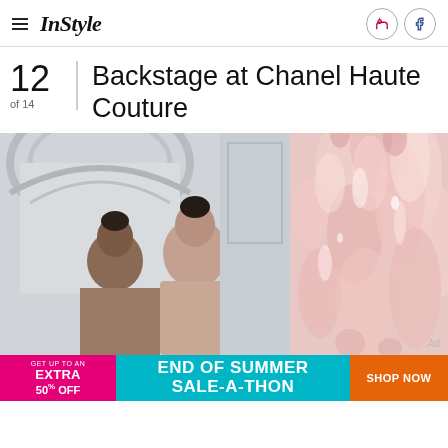InStyle
Backstage at Chanel Haute Couture
12 of 14
[Figure (photo): Backstage photo at Chanel Haute Couture showing two models with pulled back hair in front of classical architecture on the left, and a close-up of a pink feathered garment detail on the right.]
GET UP TO AN EXTRA 50% OFF END OF SUMMER SALE-A-THON SHOP NOW